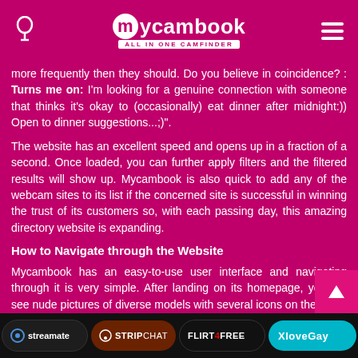mycambook ALL IN ONE CAMFINDER
more frequently then they should. Do you believe in coincidence? : Turns me on: I'm looking for a genuine connection with someone that thinks it's okay to (occasionally) eat dinner after midnight:)) Open to dinner suggestions...;)".
The website has an excellent speed and opens up in a fraction of a second. Once loaded, you can further apply filters and the filtered results will show up. Mycambook is also quick to add any of the webcam sites to its list if the concerned site is successful in winning the trust of its customers so, with each passing day, this amazing directory website is expanding.
How to Navigate through the Website
Mycambook has an easy-to-use user interface and navigating through it is very simple. After landing on its homepage, you will see nude pictures of diverse models with several icons on their cam displays. In each cam display of the model, you will see their name, an icon showing his/her original webcamming website, and a special discount offer. All these on-the-cam icons reveal important info about each of the models
streamate   STRIPCHAT   FLIRT4FREE   XloveGay